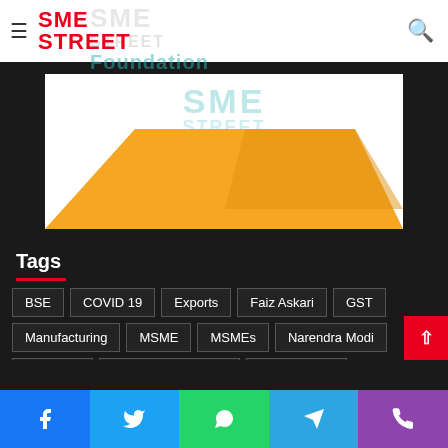SME STREET
[Figure (logo): SME Street Foundation banner/logo with teal text 'SME STREET Foundation' watermark and orange trapezoid shape on white background]
Tags
BSE
COVID 19
Exports
Faiz Askari
GST
Manufacturing
MSME
MSMEs
Narendra Modi
NewsVoir
Nirmala Sitharaman
Nitin Gadkari
Piyush Goyal
PR From NewsVoir
RBI
SMEs
Facebook | Twitter | WhatsApp | Telegram | Phone